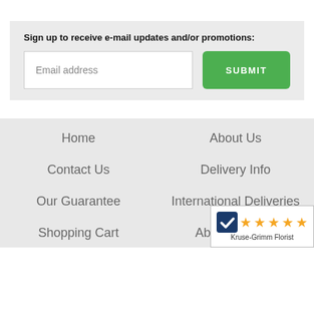Sign up to receive e-mail updates and/or promotions:
Home
About Us
Contact Us
Delivery Info
Our Guarantee
International Deliveries
Shopping Cart
About Flowers
[Figure (logo): Kruse-Grimm Florist badge with 5 orange stars and a checkmark icon]